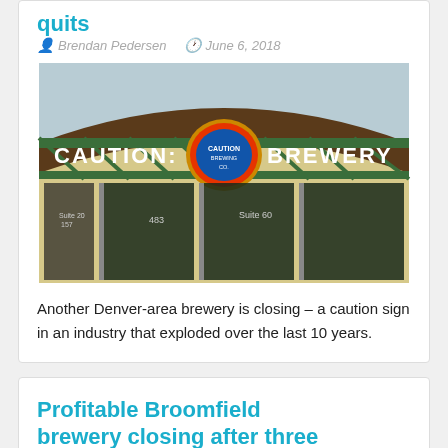quits
Brendan Pedersen   June 6, 2018
[Figure (photo): Exterior of Caution: Brewery building with storefront sign reading 'CAUTION: BREWERY' and a circular Caution Brewing Co. logo above the entrance. Green metal truss canopy, glass windows, suite numbers visible.]
Another Denver-area brewery is closing – a caution sign in an industry that exploded over the last 10 years.
Profitable Broomfield brewery closing after three